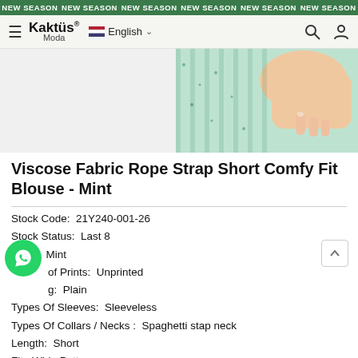NEW SEASON NEW SEASON NEW SEASON NEW SEASON NEW SEASON NEW SEASON
[Figure (logo): Kaktüs Moda logo with hamburger menu, flag, English language selector, search and account icons]
[Figure (photo): Close-up photo of a mint green patterned blouse being held by hand]
Viscose Fabric Rope Strap Short Comfy Fit Blouse - Mint
Stock Code:  21Y240-001-26
Stock Status:  Last 8
Color:  Mint
Types of Prints:  Unprinted
Patterning:  Plain
Types Of Sleeves:  Sleeveless
Types Of Collars / Necks :  Spaghetti stap neck
Length:  Short
Fit:  Wide Pattern